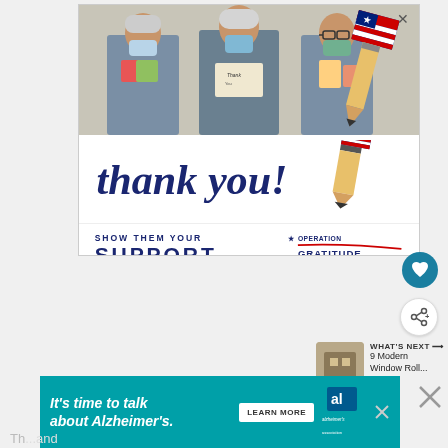[Figure (photo): Advertisement showing three healthcare workers in scrubs and masks holding thank-you cards, with a cursive 'thank you!' text and Operation Gratitude logo with pencil-flag graphic. Text reads 'SHOW THEM YOUR SUPPORT' with Operation Gratitude branding.]
Source: Amazon
[Figure (photo): Alzheimer's Association advertisement with teal background reading: It's time to talk about Alzheimer's. LEARN MORE button. Alzheimer's Association logo.]
Th...and